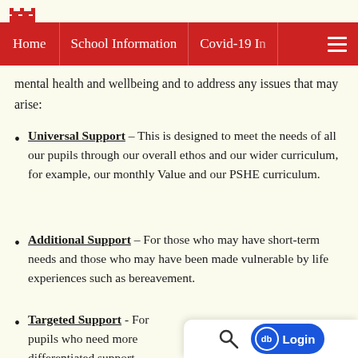Home | School Information | Covid-19 I...
mental health and wellbeing and to address any issues that may arise:
Universal Support – This is designed to meet the needs of all our pupils through our overall ethos and our wider curriculum, for example, our monthly Value and our PSHE curriculum.
Additional Support – For those who may have short-term needs and those who may have been made vulnerable by life experiences such as bereavement.
Targeted Support - For pupils who need more differentiated support and resources... [truncated]